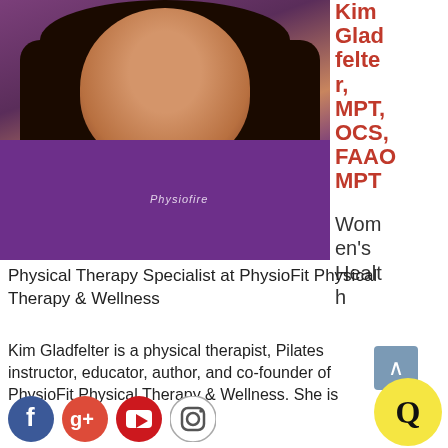[Figure (photo): Professional headshot of Kim Gladfelter, a woman with curly dark hair, wearing a purple Physiofit scrub top, smiling.]
Kim Gladfelter, MPT, OCS, FAAOMPT
Women's Health
Physical Therapy Specialist at PhysioFit Physical Therapy & Wellness
Kim Gladfelter is a physical therapist, Pilates instructor, educator, author, and co-founder of PhysioFit Physical Therapy & Wellness. She is
[Figure (logo): Social media icons: Facebook, Google+, YouTube, Instagram]